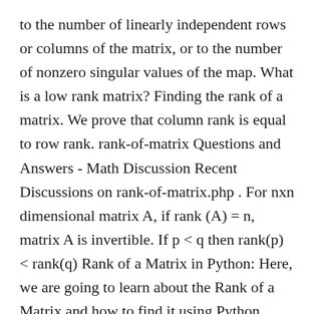to the number of linearly independent rows or columns of the matrix, or to the number of nonzero singular values of the map. What is a low rank matrix? Finding the rank of a matrix. We prove that column rank is equal to row rank. rank-of-matrix Questions and Answers - Math Discussion Recent Discussions on rank-of-matrix.php . For nxn dimensional matrix A, if rank (A) = n, matrix A is invertible. If p < q then rank(p) < rank(q) Rank of a Matrix in Python: Here, we are going to learn about the Rank of a Matrix and how to find it using Python code? We prove the rank of the sum of two matrices is less than or equal to the sum of ranks of these matrices: rank(A+B) <= rank(A)+rank(B). This exact calculation is useful for ill-conditioned matrices, such